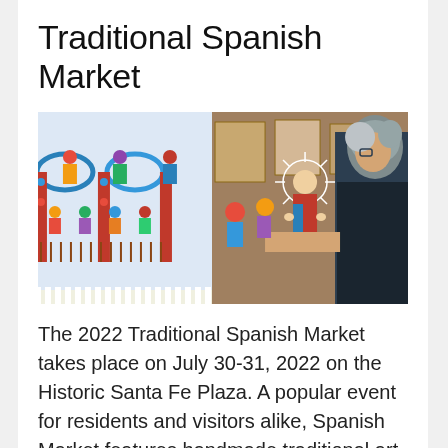Traditional Spanish Market
[Figure (photo): Photo collage showing colorful traditional Spanish Market folk art figures and crafts on the left, and a man examining a religious folk art figurine (santo) on the right.]
The 2022 Traditional Spanish Market takes place on July 30-31, 2022 on the Historic Santa Fe Plaza. A popular event for residents and visitors alike, Spanish Market features handmade traditional art from hundreds of local Hispanic artists, as well as live music, art demonstrations, and regional foods throughout the day.